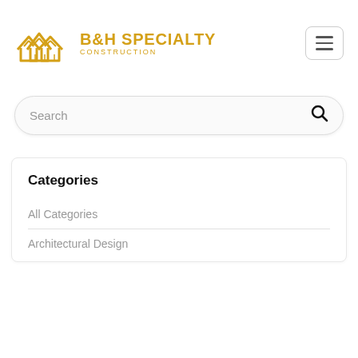[Figure (logo): B&H Specialty Construction logo with house icon in golden/yellow color and company name]
Search
Categories
All Categories
Architectural Design